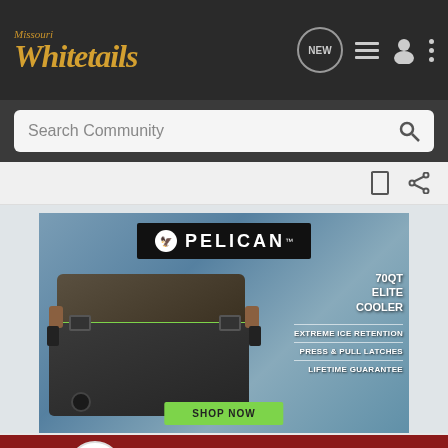Missouri Whitetails — navigation bar with NEW chat, list, user, and menu icons
Search Community
[Figure (screenshot): Pelican 70QT Elite Cooler advertisement. Dark cooler with green stripe on dock by water. Text: PELICAN logo, 70QT ELITE COOLER, EXTREME ICE RETENTION, PRESS & PULL LATCHES, LIFETIME GUARANTEE, SHOP NOW button]
[Figure (screenshot): Cabela's Bargain Cave advertisement. Dark red background with Cabela's logo, Bargain Cave circle badge, HUNTING CLEARANCE text, and SHOP NOW button]